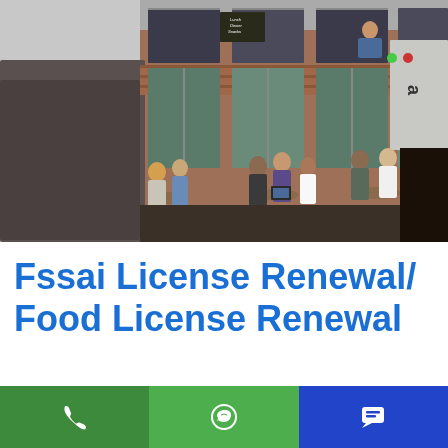[Figure (photo): Outdoor restaurant/cafe scene with people dining at tables outside a brick building with large windows. The street scene shows multiple groups of customers seated at tables.]
Fssai License Renewal/ Food License Renewal
The FSSAI license have the validity which has been given for a specific period like one year or five years. Before expiry of that specific period, the food business operators have to renew the Food License. As per rules and regulations of
[Figure (other): Bottom navigation bar with three buttons: phone icon (green), WhatsApp icon (medium green), and chat/message icon (blue)]